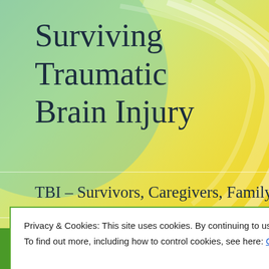Surviving Traumatic Brain Injury
TBI – Survivors, Caregivers, Family, and Friends
[Figure (screenshot): Cookie consent popup overlay with green border on white background, containing privacy notice text and Close and accept button]
Privacy & Cookies: This site uses cookies. By continuing to use this website, you agree to their use. To find out more, including how to control cookies, see here: Cookie Policy
Problems After Brain Injury